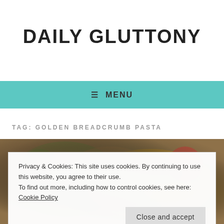DAILY GLUTTONY
≡ MENU
TAG: GOLDEN BREADCRUMB PASTA
[Figure (photo): Food photo showing pasta dish in bowls with herbs and vegetables]
Privacy & Cookies: This site uses cookies. By continuing to use this website, you agree to their use.
To find out more, including how to control cookies, see here: Cookie Policy
Close and accept